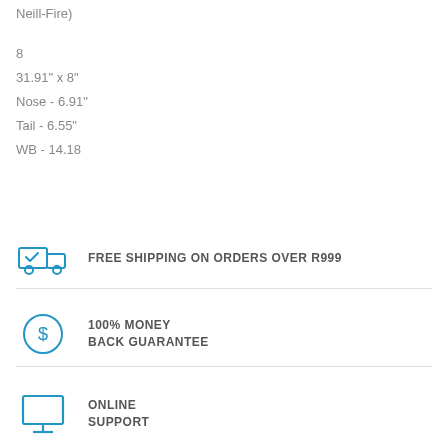Neill-Fire)
8
31.91" x 8"
Nose - 6.91"
Tail - 6.55"
WB - 14.18
[Figure (infographic): Truck with checkmark icon - Free shipping on orders over R999]
FREE SHIPPING ON ORDERS OVER R999
[Figure (infographic): Dollar sign circle icon - 100% money back guarantee]
100% MONEY BACK GUARANTEE
[Figure (infographic): Monitor/computer icon - Online support]
ONLINE SUPPORT